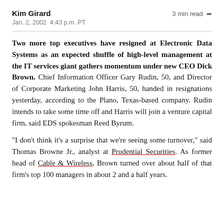Kim Girard
Jan. 2, 2002 4:43 p.m. PT
3 min read
Two more top executives have resigned at Electronic Data Systems as an expected shuffle of high-level management at the IT services giant gathers momentum under new CEO Dick Brown. Chief Information Officer Gary Rudin, 50, and Director of Corporate Marketing John Harris, 50, handed in resignations yesterday, according to the Plano, Texas-based company. Rudin intends to take some time off and Harris will join a venture capital firm, said EDS spokesman Reed Byrum.
"I don't think it's a surprise that we're seeing some turnover," said Thomas Browne Jr., analyst at Prudential Securities. As former head of Cable & Wireless, Brown turned over about half of that firm's top 100 managers in about 2 and a half years.